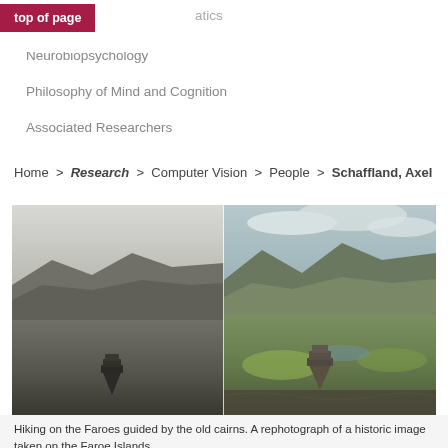top of page
atics
Neurobiopsychology
Philosophy of Mind and Cognition
Associated Researchers
Home  >  Research  >  Computer Vision  >  People  >  Schaffland, Axel
[Figure (photo): Side-by-side comparison photo: left half is a black-and-white image of a misty landscape on the Faroe Islands with stone cairns in the foreground and mountains in the background; right half is the same scene in color with green grass, rocky terrain, stone cairns, a lake and mountains under a cloudy sky.]
Hiking on the Faroes guided by the old cairns. A rephotograph of a historic image taken on the Faroe Islands.